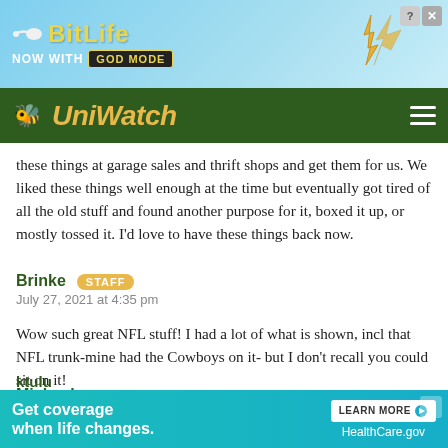[Figure (screenshot): BitLife advertisement banner — 'NOW WITH GOD MODE' on cyan/light blue background with hand pointing graphic]
[Figure (logo): Uni Watch logo — bee icon and cursive yellow 'UniWatch' text on dark green background with hamburger menu icon]
these things at garage sales and thrift shops and get them for us. We liked these things well enough at the time but eventually got tired of all the old stuff and found another purpose for it, boxed it up, or mostly tossed it. I'd love to have these things back now.
Brinke [STAFF] July 27, 2021 at 4:35 pm
Wow such great NFL stuff! I had a lot of what is shown, incl that NFL trunk-mine had the Cowboys on it- but I don't recall you could sit on it!
Michael July 27, 2021 at 6:01 pm
I've ne... re: link
ktulu
[Figure (screenshot): HealthCare.gov advertisement — 'Get coverage when life changes. LEARN MORE HealthCare.gov' on teal background]